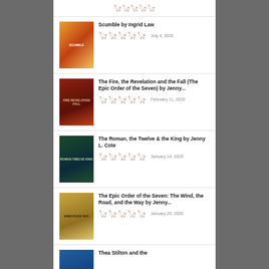Scumble by Ingrid Law — 5 stars — July 4, 2020
The Fire, the Revelation and the Fall (The Epic Order of the Seven) by Jenny... — 5 stars — February 11, 2020
The Roman, the Twelve & the King by Jenny L. Cote — 5 stars — January 14, 2020
The Epic Order of the Seven: The Wind, the Road, and the Way by Jenny... — 5 stars — January 29, 2020
Thea Stilton and the...